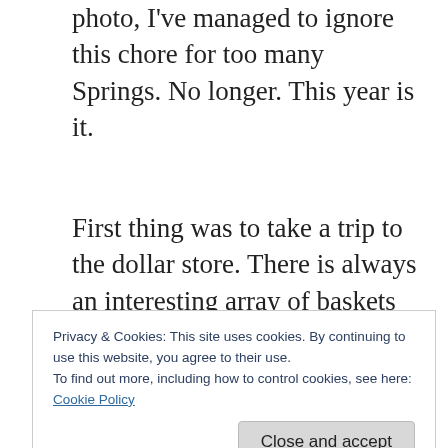photo, I've managed to ignore this chore for too many Springs. No longer. This year is it.
First thing was to take a trip to the dollar store. There is always an interesting array of baskets and bins that are ideal for organizing untamed stuff. I picked up a dozen assorted items in a
Privacy & Cookies: This site uses cookies. By continuing to use this website, you agree to their use.
To find out more, including how to control cookies, see here:
Cookie Policy
Armed with my new bins and baskets, I faced